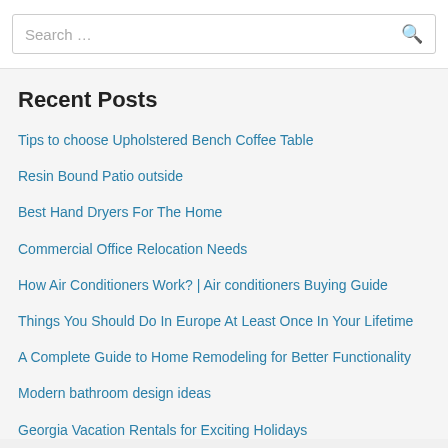Search …
Recent Posts
Tips to choose Upholstered Bench Coffee Table
Resin Bound Patio outside
Best Hand Dryers For The Home
Commercial Office Relocation Needs
How Air Conditioners Work? | Air conditioners Buying Guide
Things You Should Do In Europe At Least Once In Your Lifetime
A Complete Guide to Home Remodeling for Better Functionality
Modern bathroom design ideas
Georgia Vacation Rentals for Exciting Holidays